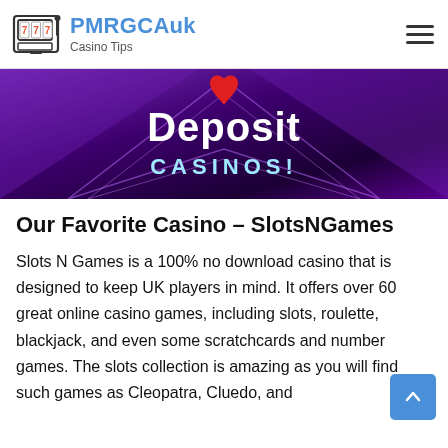PMRGCAuk Casino Tips
[Figure (illustration): No Deposit Casinos promotional banner with neon-style text on a dark purple/violet background with geometric diamond shapes. Text reads 'Deposit CASINOS!' with a red heart shape at top.]
Our Favorite Casino – SlotsNGames
Slots N Games is a 100% no download casino that is designed to keep UK players in mind. It offers over 60 great online casino games, including slots, roulette, blackjack, and even some scratchcards and number games. The slots collection is amazing as you will find such games as Cleopatra, Cluedo, and